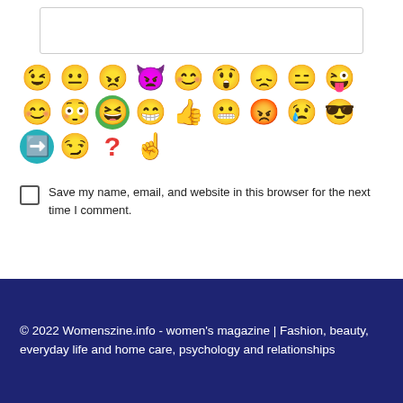[Figure (screenshot): Text area input box (empty, with resize handle)]
[Figure (other): Grid of emoji/reaction icons: winking face, neutral face, angry face, devil face, smiling face, surprised face, sad face, expressionless face, grinning with tongue; blushing face, flushed face, laughing green face, grinning face, thumbs up, grinning teeth, angry red face, crying face, sunglasses face; arrow right teal, smirking face, red question mark, point up hand]
Save my name, email, and website in this browser for the next time I comment.
Post Comment
© 2022 Womenszine.info - women's magazine | Fashion, beauty, everyday life and home care, psychology and relationships